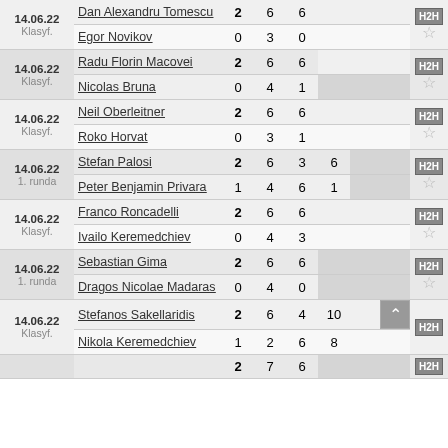| Date | Player | Sets | S1 | S2 | S3 | S4 | S5 | H2H |
| --- | --- | --- | --- | --- | --- | --- | --- | --- |
| 14.06.22 Klasyf. | Dan Alexandru Tomescu | 2 | 6 | 6 |  |  |  | H2H |
|  | Egor Novikov | 0 | 3 | 0 |  |  |  | ☆ |
| 14.06.22 Klasyf. | Radu Florin Macovei | 2 | 6 | 6 |  |  |  | H2H |
|  | Nicolas Bruna | 0 | 4 | 1 |  |  |  | ☆ |
| 14.06.22 Klasyf. | Neil Oberleitner | 2 | 6 | 6 |  |  |  | H2H |
|  | Roko Horvat | 0 | 3 | 1 |  |  |  | ☆ |
| 14.06.22 1. runda | Stefan Palosi | 2 | 6 | 3 | 6 |  |  | H2H |
|  | Peter Benjamin Privara | 1 | 4 | 6 | 1 |  |  | ☆ |
| 14.06.22 Klasyf. | Franco Roncadelli | 2 | 6 | 6 |  |  |  | H2H |
|  | Ivailo Keremedchiev | 0 | 4 | 3 |  |  |  | ☆ |
| 14.06.22 1. runda | Sebastian Gima | 2 | 6 | 6 |  |  |  | H2H |
|  | Dragos Nicolae Madaras | 0 | 4 | 0 |  |  |  | ☆ |
| 14.06.22 Klasyf. | Stefanos Sakellaridis | 2 | 6 | 4 | 10 |  |  | H2H |
|  | Nikola Keremedchiev | 1 | 2 | 6 | 8 |  |  | ☆ |